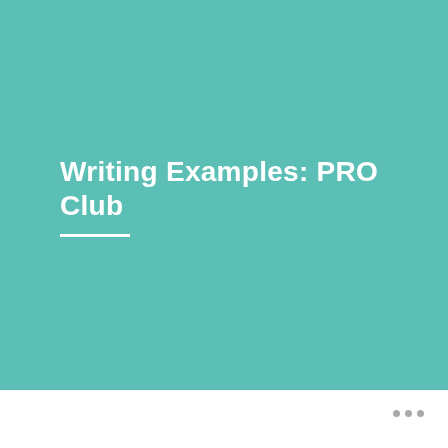Writing Examples: PRO Club
...